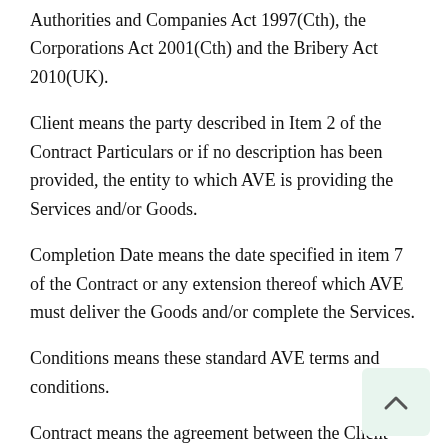Authorities and Companies Act 1997(Cth), the Corporations Act 2001(Cth) and the Bribery Act 2010(UK).
Client means the party described in Item 2 of the Contract Particulars or if no description has been provided, the entity to which AVE is providing the Services and/or Goods.
Completion Date means the date specified in item 7 of the Contract or any extension thereof which AVE must deliver the Goods and/or complete the Services.
Conditions means these standard AVE terms and conditions.
Contract means the agreement between the Client and AVE evidenced by the Conditions, the Contract Particulars and/or AVE Invoice,